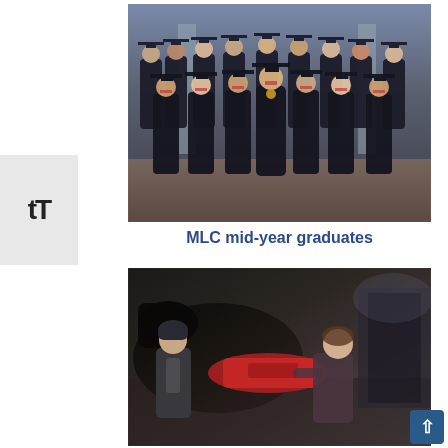[Figure (photo): Group photo of MLC mid-year graduates in academic regalia (black gowns and mortarboard caps) standing in two rows inside a decorated hall]
MLC mid-year graduates
[Figure (photo): Two people posing with a horse wearing a red blanket in what appears to be a stable or equestrian facility]